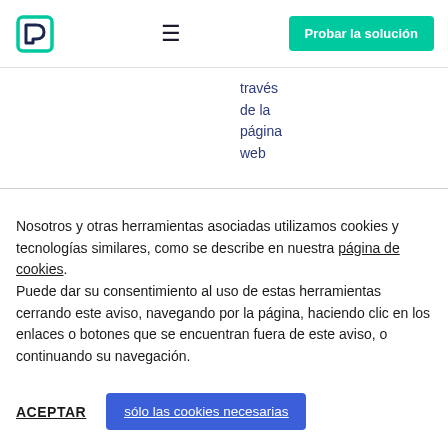Logo | ≡ | Probar la solución
través
de la
página
web
Nosotros y otras herramientas asociadas utilizamos cookies y tecnologías similares, como se describe en nuestra página de cookies. Puede dar su consentimiento al uso de estas herramientas cerrando este aviso, navegando por la página, haciendo clic en los enlaces o botones que se encuentran fuera de este aviso, o continuando su navegación.
ACEPTAR | sólo las cookies necesarias